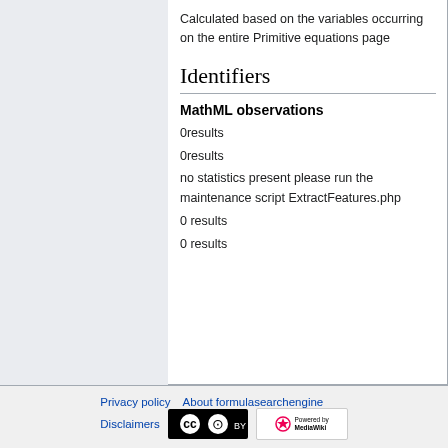Calculated based on the variables occurring on the entire Primitive equations page
Identifiers
MathML observations
0results
0results
no statistics present please run the maintenance script ExtractFeatures.php
0 results
0 results
Privacy policy   About formulasearchengine   Disclaimers